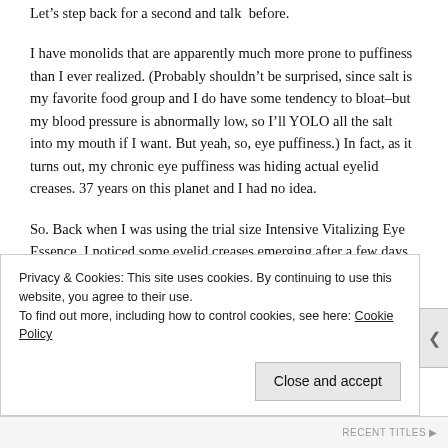Let’s step back for a second and talk before.
I have monolids that are apparently much more prone to puffiness than I ever realized. (Probably shouldn’t be surprised, since salt is my favorite food group and I do have some tendency to bloat–but my blood pressure is abnormally low, so I’ll YOLO all the salt into my mouth if I want. But yeah, so, eye puffiness.) In fact, as it turns out, my chronic eye puffiness was hiding actual eyelid creases. 37 years on this planet and I had no idea.
So. Back when I was using the trial size Intensive Vitalizing Eye Essence, I noticed some eyelid creases emerging after a few days of regular, twice-daily use. Not so dramatic that it looks
Privacy & Cookies: This site uses cookies. By continuing to use this website, you agree to their use.
To find out more, including how to control cookies, see here: Cookie Policy
Close and accept